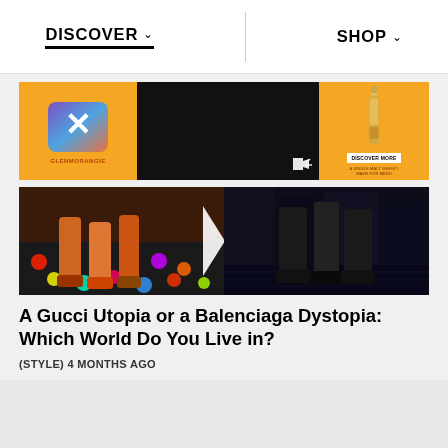DISCOVER   SHOP
[Figure (photo): Glenmorangie advertisement banner with orange background, X logo on left, dark video panel in center with mute icon, whisky bottle on right with DISCOVER MORE button]
[Figure (photo): Split image: left side shows colorful disco dance floor with orange-clad legs, right side shows dark urban scene with legs in black Balenciaga shoes, separated by a white chevron arrow]
A Gucci Utopia or a Balenciaga Dystopia: Which World Do You Live in?
(STYLE) 4 MONTHS AGO